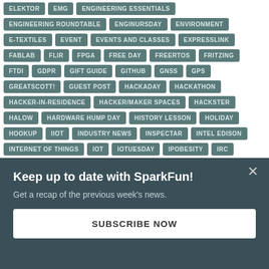Tags: ELEKTOR, EMG, ENGINEERING ESSENTIALS, ENGINEERING ROUNDTABLE, ENGINURSDAY, ENVIRONMENT, E-TEXTILES, EVENT, EVENTS AND CLASSES, EXPRESSLINK, FABLAB, FLIR, FPGA, FREE DAY, FREERTOS, FRITZING, FTDI, GDPR, GIFT GUIDE, GITHUB, GNSS, GPS, GREATSCOTT!, GUEST POST, HACKADAY, HACKATHON, HACKER-IN-RESIDENCE, HACKER/MAKER SPACES, HACKSTER, HALOW, HARDWARE HUMP DAY, HISTORY LESSON, HOLIDAY, HOOKUP, IIOT, INDUSTRY NEWS, INSPECTAR, INTEL EDISON, INTERNET OF THINGS, IOT, IOTUESDAY, IPOBESITY, IRC, IRIDIUM, IT, KICAD, KIT, LASER CUTTING, L-BAND, LCD, LEARN AT HOME, LED, LEGAL, LIDAR, LIGHT
Keep up to date with SparkFun!
Get a recap of the previous week's news.
SUBSCRIBE NOW